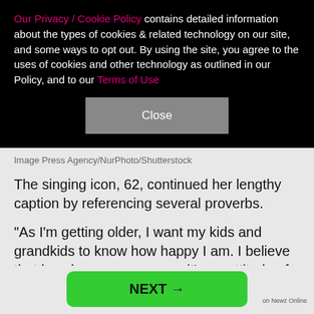Our Privacy / Cookie Policy contains detailed information about the types of cookies & related technology on our site, and some ways to opt out. By using the site, you agree to the uses of cookies and other technology as outlined in our Policy, and to our Terms of Use
Close
Image Press Agency/NurPhoto/Shutterstock
The singing icon, 62, continued her lengthy caption by referencing several proverbs.
"As I'm getting older, I want my kids and grandkids to know how happy I am. I believe that love keeps us young… it's an attitude of gratitude. And when we show others what happiness looks like, it's as easy as sharing a simple smile." Marie, a practicing Mormon, said
NEXT →
on Newz Online